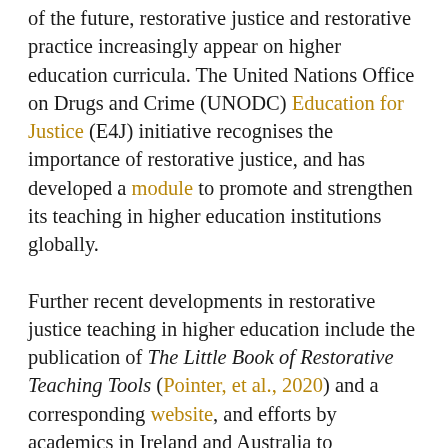of the future, restorative justice and restorative practice increasingly appear on higher education curricula. The United Nations Office on Drugs and Crime (UNODC) Education for Justice (E4J) initiative recognises the importance of restorative justice, and has developed a module to promote and strengthen its teaching in higher education institutions globally.
Further recent developments in restorative justice teaching in higher education include the publication of The Little Book of Restorative Teaching Tools (Pointer, et al., 2020) and a corresponding website, and efforts by academics in Ireland and Australia to encourage their colleagues from around the world and across different disciplines to share restorative justice syllabi...